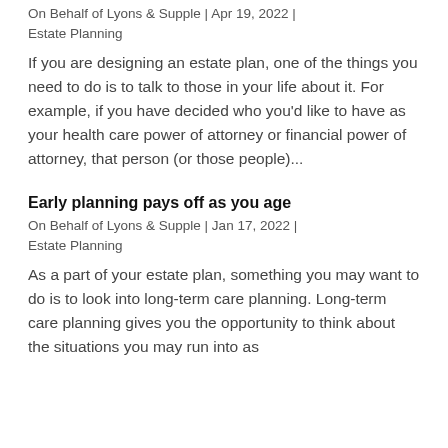On Behalf of Lyons & Supple | Apr 19, 2022 | Estate Planning
If you are designing an estate plan, one of the things you need to do is to talk to those in your life about it. For example, if you have decided who you'd like to have as your health care power of attorney or financial power of attorney, that person (or those people)...
Early planning pays off as you age
On Behalf of Lyons & Supple | Jan 17, 2022 | Estate Planning
As a part of your estate plan, something you may want to do is to look into long-term care planning. Long-term care planning gives you the opportunity to think about the situations you may run into as